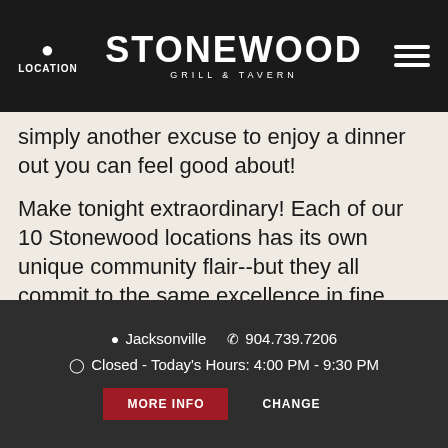LOCATION | STONEWOOD GRILL & TAVERN | [menu icon]
simply another excuse to enjoy a dinner out you can feel good about!
Make tonight extraordinary! Each of our 10 Stonewood locations has its own unique community flair--but they all commit to the same excellence in fine ingredients and kitchen expertise. Find a Location and be sure to Sign Up for our E-Club for news and special offers!
Jacksonville  904.739.7206  Closed - Today's Hours: 4:00 PM - 9:30 PM  MORE INFO  CHANGE